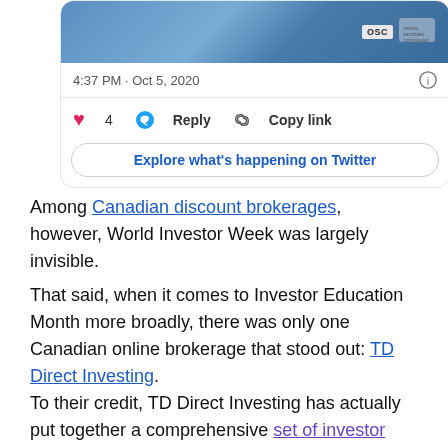[Figure (screenshot): Screenshot of a Twitter/X post card showing a tweet image with OSC and securities commission logos, timestamp 4:37 PM · Oct 5, 2020, with like (4), reply, and copy link actions, and an Explore what's happening on Twitter button.]
Among Canadian discount brokerages, however, World Investor Week was largely invisible.
That said, when it comes to Investor Education Month more broadly, there was only one Canadian online brokerage that stood out: TD Direct Investing.
To their credit, TD Direct Investing has actually put together a comprehensive set of investor education activities in recognition of Investor Education Month – something that other online brokerages in Canada will